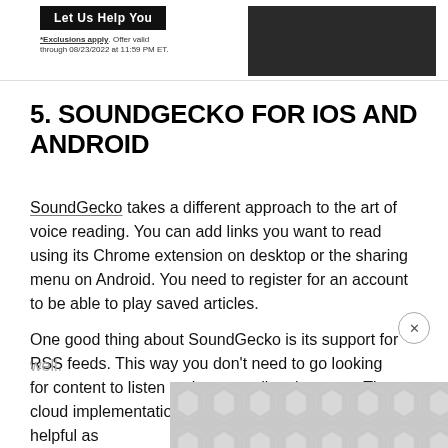[Figure (other): Advertisement banner at top with 'Let us Help You' button, fine print about exclusions and offer validity through 08/23/2022 at 11:59 PM ET, and a dark photo of a person with jewelry on the right.]
5. SOUNDGECKO FOR IOS AND ANDROID
SoundGecko takes a different approach to the art of voice reading. You can add links you want to read using its Chrome extension on desktop or the sharing menu on Android. You need to register for an account to be able to play saved articles.
One good thing about SoundGecko is its support for RSS feeds. This way you don't need to go looking for content to listen to, it comes directly to you. The cloud implementation and sync between devices is helpful as well.
[Figure (other): Bottom advertisement banner with geometric hexagon/diamond pattern in grey tones.]